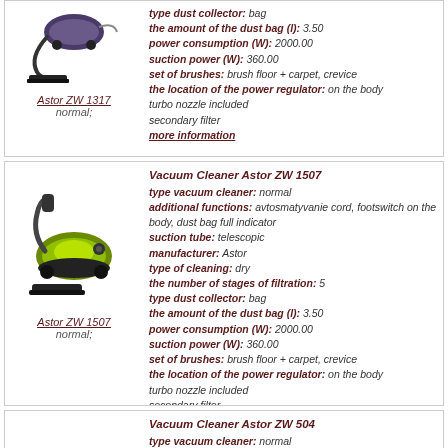[Figure (photo): Vacuum cleaner Astor ZW 1317 product image]
Astor ZW 1317
normal;
type dust collector: bag
the amount of the dust bag (l): 3.50
power consumption (W): 2000.00
suction power (W): 360.00
set of brushes: brush floor + carpet, crevice
the location of the power regulator: on the body
turbo nozzle included
secondary filter
more information
[Figure (photo): Vacuum cleaner Astor ZW 1507 product image]
Astor ZW 1507
normal;
Vacuum Cleaner Astor ZW 1507
type vacuum cleaner: normal
additional functions: avtosmatyvanie cord, footswitch on the body, dust bag full indicator
suction tube: telescopic
manufacturer: Astor
type of cleaning: dry
the number of stages of filtration: 5
type dust collector: bag
the amount of the dust bag (l): 3.50
power consumption (W): 2000.00
suction power (W): 360.00
set of brushes: brush floor + carpet, crevice
the location of the power regulator: on the body
turbo nozzle included
secondary filter
more information
[Figure (photo): Vacuum cleaner Astor ZW 504 product image]
Vacuum Cleaner Astor ZW 504
type vacuum cleaner: normal
additional functions: avtosmatyvanie cord,